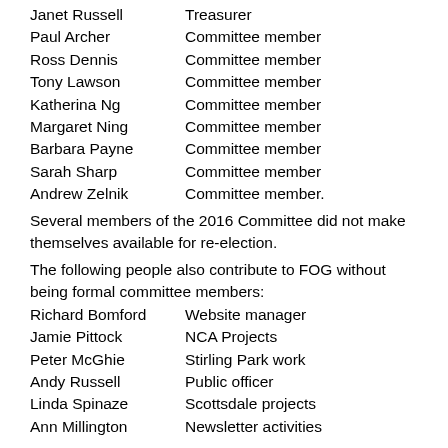Janet Russell    Treasurer
Paul Archer    Committee member
Ross Dennis    Committee member
Tony Lawson    Committee member
Katherina Ng    Committee member
Margaret Ning    Committee member
Barbara Payne    Committee member
Sarah Sharp    Committee member
Andrew Zelnik    Committee member.
Several members of the 2016 Committee did not make themselves available for re-election.
The following people also contribute to FOG without being formal committee members:
Richard Bomford    Website manager
Jamie Pittock    NCA Projects
Peter McGhie    Stirling Park work
Andy Russell    Public officer
Linda Spinaze    Scottsdale projects
Ann Millington    Newsletter activities